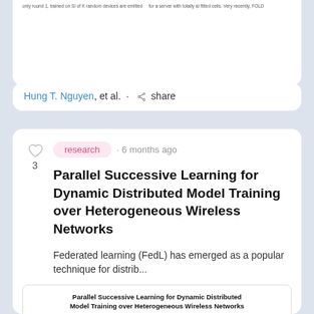...only round 1, trained on Si of K random devices are emitted ... for a server with totally al fitted cells. Very recently, FOLD...
Hung T. Nguyen, et al. · share
research · 6 months ago
Parallel Successive Learning for Dynamic Distributed Model Training over Heterogeneous Wireless Networks
Federated learning (FedL) has emerged as a popular technique for distrib...
[Figure (screenshot): Preview thumbnail of the paper 'Parallel Successive Learning for Dynamic Distributed Model Training over Heterogeneous Wireless Networks' showing title, authors, and abstract beginning.]